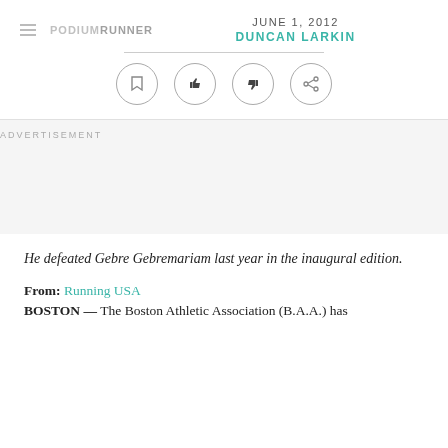PODIUMRUNNER  JUNE 1, 2012  DUNCAN LARKIN
[Figure (other): Action icons row: bookmark, thumbs up, thumbs down, share — each in a circle]
ADVERTISEMENT
He defeated Gebre Gebremariam last year in the inaugural edition.
From: Running USA
BOSTON — The Boston Athletic Association (B.A.A.) has